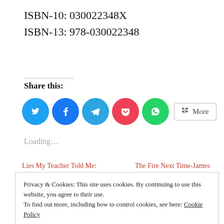ISBN-10: 030022348X
ISBN-13: 978-030022348
Share this:
[Figure (infographic): Row of social sharing icon buttons: Twitter (blue), Facebook (blue), Telegram (light blue), Pocket (red), WhatsApp (green), and a 'More' button with share icon]
Loading…
Lies My Teacher Told Me:
The Fire Next Time-James
Privacy & Cookies: This site uses cookies. By continuing to use this website, you agree to their use.
To find out more, including how to control cookies, see here: Cookie Policy
Close and accept
Fall of the Cherokee Nation